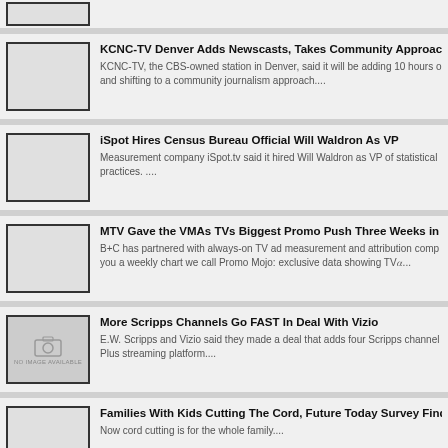(partial item at top)
KCNC-TV Denver Adds Newscasts, Takes Community Approach — KCNC-TV, the CBS-owned station in Denver, said it will be adding 10 hours of and shifting to a community journalism approach....
iSpot Hires Census Bureau Official Will Waldron As VP — Measurement company iSpot.tv said it hired Will Waldron as VP of statistical practices. ....
MTV Gave the VMAs TVs Biggest Promo Push Three Weeks in a R — B+C has partnered with always-on TV ad measurement and attribution comp you a weekly chart we call Promo Mojo: exclusive data showing TV𝛼...
More Scripps Channels Go FAST In Deal With Vizio — E.W. Scripps and Vizio said they made a deal that adds four Scripps channel Plus streaming platform....
Families With Kids Cutting The Cord, Future Today Survey Finds — Now cord cutting is for the whole family....
LiveU Releases New LU810 and LU610S Rackmount REMI Encod — HACKENSACK, N.J. LiveU has released two notable additions to its 5G prod and LU610S rackmount REMI (remote production) encoders that offer s...
(partial item at bottom)